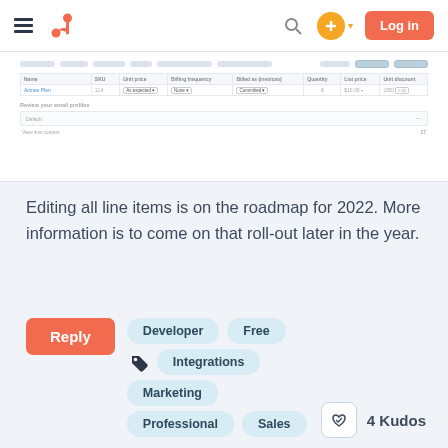HubSpot navigation bar with hamburger menu, logo, search, plus button, and Log in button
[Figure (screenshot): Screenshot of HubSpot line items table interface showing a data table with columns for Name, SKU, Unit Price, Billing Frequency, Billed as, Quantity, List Price, and Unit Discount, with one row of data visible, plus footer rows for review email profiles and view line content]
Editing all line items is on the roadmap for 2022. More information is to come on that roll-out later in the year.
Reply
Developer
Free
Integrations
Marketing
Professional
Sales
4 Kudos